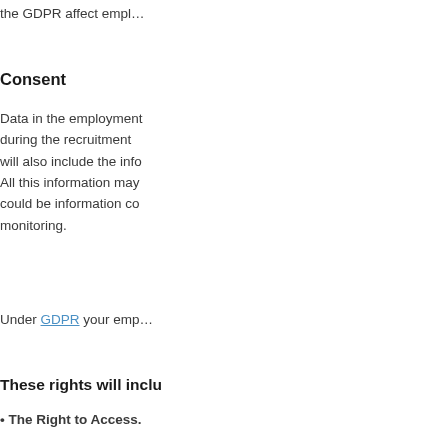the GDPR affect empl…
Consent
Data in the employment… during the recruitment… will also include the info… All this information may… could be information co… monitoring.
Under GDPR your emp…
These rights will inclu…
• The Right to Access. … to the data you hold on… possible employers sho… login where they can vi… transparency and ease o…
• The Right to Rectifi…